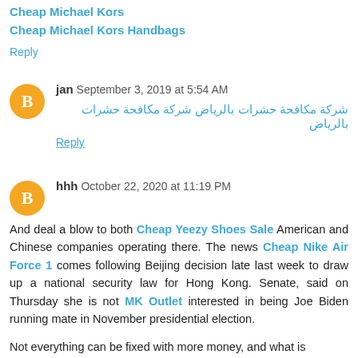Cheap Michael Kors
Cheap Michael Kors Handbags
Reply
jan  September 3, 2019 at 5:54 AM
شركة مكافحة حشرات بالرياض شركة مكافحة حشرات بالرياض
Reply
hhh  October 22, 2020 at 11:19 PM
And deal a blow to both Cheap Yeezy Shoes Sale American and Chinese companies operating there. The news Cheap Nike Air Force 1 comes following Beijing decision late last week to draw up a national security law for Hong Kong. Senate, said on Thursday she is not MK Outlet interested in being Joe Biden running mate in November presidential election.
Not everything can be fixed with more money, and what is